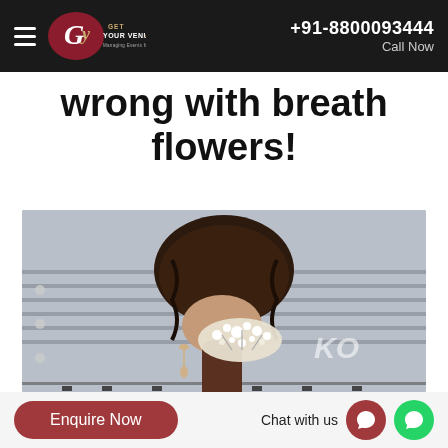+91-8800093444 Call Now
wrong with breath flowers!
[Figure (photo): Back view of a woman with braided hair and baby's breath flowers at the nape of her neck, wearing dangly earrings. Watermark 'KO' and 'AARUSHI_OSWAL' visible.]
Enquire Now  Chat with us